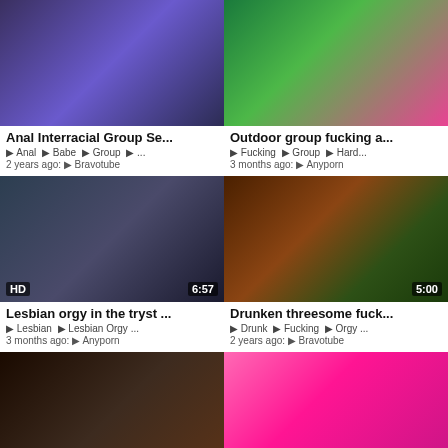[Figure (screenshot): Video thumbnail grid of adult content with titles, tags, timestamps and source sites]
Anal Interracial Group Se...
⊙ Anal ⊙ Babe ⊙ Group ⊙ ...
2 years ago: ⊙ Bravotube
Outdoor group fucking a...
⊙ Fucking ⊙ Group ⊙ Hard...
3 months ago: ⊙ Anyporn
Lesbian orgy in the tryst ...
⊙ Lesbian ⊙ Lesbian Orgy ...
3 months ago: ⊙ Anyporn
Drunken threesome fuck...
⊙ Drunk ⊙ Fucking ⊙ Orgy ...
2 years ago: ⊙ Bravotube